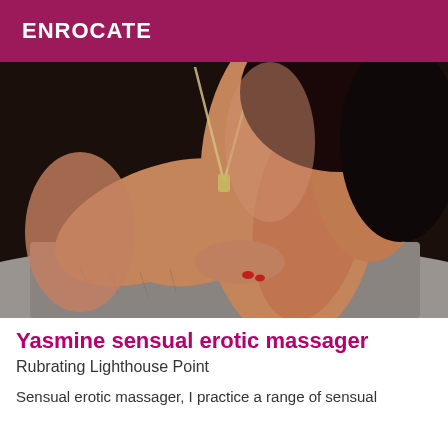ENROCATE
[Figure (photo): Woman with dark hair, wearing a necklace, with crossed arms resting on a grey fur surface, dark background]
Yasmine sensual erotic massager
Rubrating Lighthouse Point
Sensual erotic massager, I practice a range of sensual